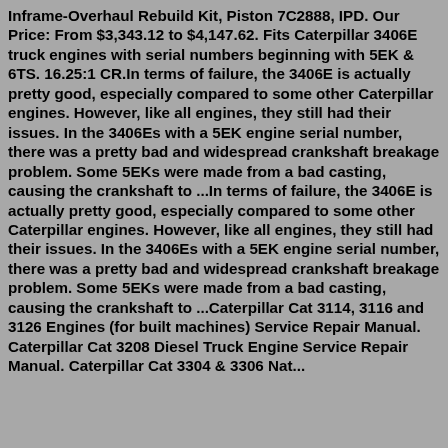Inframe-Overhaul Rebuild Kit, Piston 7C2888, IPD. Our Price: From $3,343.12 to $4,147.62. Fits Caterpillar 3406E truck engines with serial numbers beginning with 5EK & 6TS. 16.25:1 CR.In terms of failure, the 3406E is actually pretty good, especially compared to some other Caterpillar engines. However, like all engines, they still had their issues. In the 3406Es with a 5EK engine serial number, there was a pretty bad and widespread crankshaft breakage problem. Some 5EKs were made from a bad casting, causing the crankshaft to ...In terms of failure, the 3406E is actually pretty good, especially compared to some other Caterpillar engines. However, like all engines, they still had their issues. In the 3406Es with a 5EK engine serial number, there was a pretty bad and widespread crankshaft breakage problem. Some 5EKs were made from a bad casting, causing the crankshaft to ...Caterpillar Cat 3114, 3116 and 3126 Engines (for built machines) Service Repair Manual. Caterpillar Cat 3208 Diesel Truck Engine Service Repair Manual. Caterpillar Cat 3304 & 3306 Nat...